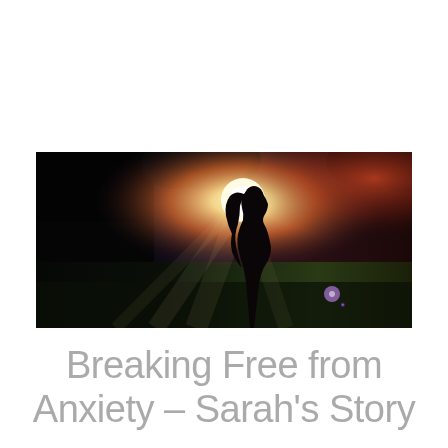[Figure (photo): A silhouette of a young woman with long hair standing in a sunny meadow, looking upward toward a bright sun with light rays breaking through trees. The left portion of the image is very dark/black, transitioning to warm golden and reddish tones on the right. There is a purple/violet lens flare visible in the lower right area.]
Breaking Free from Anxiety – Sarah's Story